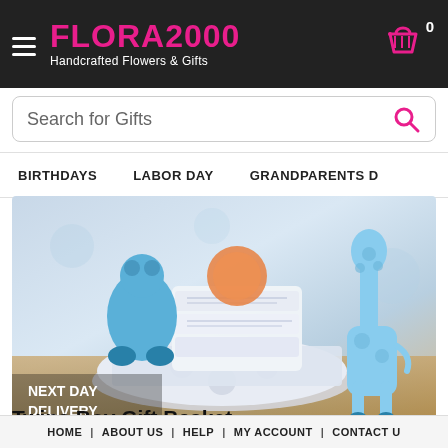FLORA2000 Handcrafted Flowers & Gifts
Search for Gifts
BIRTHDAYS  LABOR DAY  GRANDPARENTS D
[Figure (photo): Baby gift basket with blue stuffed giraffe toys and folded white baby blankets with blue pattern, labeled NEXT DAY DELIVERY]
Twins Boy Gift Basket
HOME | ABOUT US | HELP | MY ACCOUNT | CONTACT U